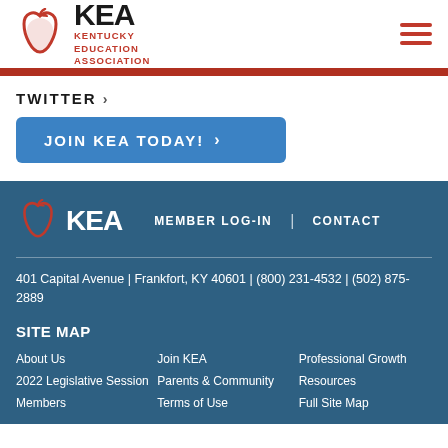[Figure (logo): KEA Kentucky Education Association logo with apple graphic]
TWITTER >
JOIN KEA TODAY! >
[Figure (logo): KEA footer logo with apple graphic]
MEMBER LOG-IN | CONTACT
401 Capital Avenue | Frankfort, KY 40601 | (800) 231-4532 | (502) 875-2889
SITE MAP
About Us
Join KEA
Professional Growth
2022 Legislative Session
Parents & Community
Resources
Members
Terms of Use
Full Site Map